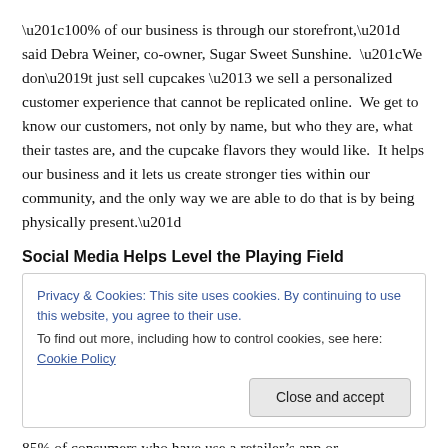“100% of our business is through our storefront,” said Debra Weiner, co-owner, Sugar Sweet Sunshine.  “We don’t just sell cupcakes – we sell a personalized customer experience that cannot be replicated online.  We get to know our customers, not only by name, but who they are, what their tastes are, and the cupcake flavors they would like.  It helps our business and it lets us create stronger ties within our community, and the only way we are able to do that is by being physically present.”
Social Media Helps Level the Playing Field
Privacy & Cookies: This site uses cookies. By continuing to use this website, you agree to their use.
To find out more, including how to control cookies, see here: Cookie Policy
[Close and accept]
85% of consumers who have use a retailer’s app or